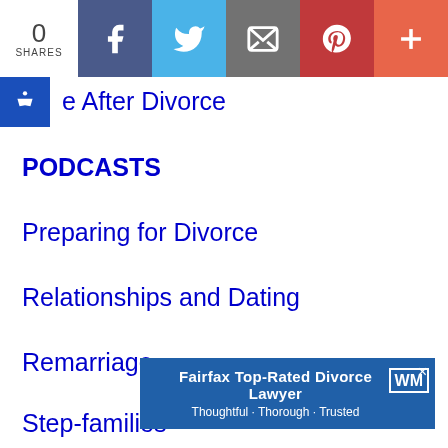[Figure (screenshot): Social share bar with 0 SHARES count and buttons for Facebook, Twitter, Email, Pinterest, and More]
e After Divorce
PODCASTS
Preparing for Divorce
Relationships and Dating
Remarriage
Step-families
Video Blogs
Your Home and Divorce
BLOG
[Figure (screenshot): Advertisement overlay: Fairfax Top-Rated Divorce Lawyer Thoughtful · Thorough · Trusted with WM logo and X close button]
Alternative Dispute Resolution (ADR)